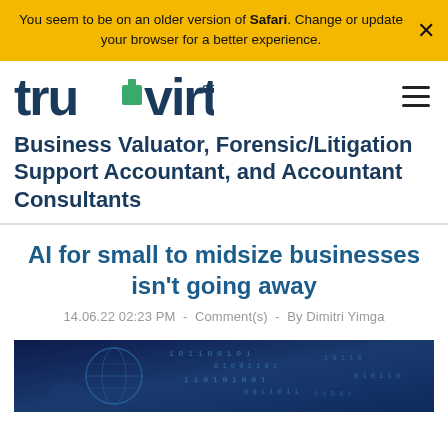You seem to be on an older version of Safari. Change or update your browser for a better experience.
[Figure (logo): TruVirtt CP logo in teal/green colors]
Business Valuator, Forensic/Litigation Support Accountant, and Accountant Consultants
AI for small to midsize businesses isn't going away
14.06.22 02:23 PM  -  Comment(s)  -  By Dimitri Yimga
[Figure (photo): Dark blue digital globe with binary code and data visualization elements]